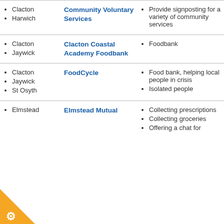| Location | Organisation | Services |
| --- | --- | --- |
| Clacton, Harwich | Community Voluntary Services | Provide signposting for a variety of community services |
| Clacton, Jaywick | Clacton Coastal Academy Foodbank | Foodbank |
| Clacton, Jaywick, St Osyth | FoodCycle | Food bank, helping local people in crisis; Isolated people |
| Elmstead | Elmstead Mutual | Collecting prescriptions; Collecting groceries; Offering a chat for |